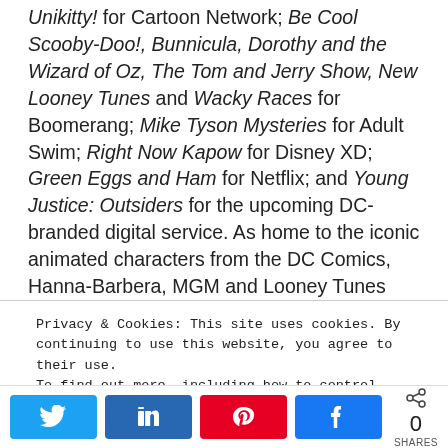Unikitty! for Cartoon Network; Be Cool Scooby-Doo!, Bunnicula, Dorothy and the Wizard of Oz, The Tom and Jerry Show, New Looney Tunes and Wacky Races for Boomerang; Mike Tyson Mysteries for Adult Swim; Right Now Kapow for Disney XD; Green Eggs and Ham for Netflix; and Young Justice: Outsiders for the upcoming DC-branded digital service. As home to the iconic animated characters from the DC Comics, Hanna-Barbera, MGM and Looney Tunes libraries, WBA also produces highly successful animated films —
Privacy & Cookies: This site uses cookies. By continuing to use this website, you agree to their use. To find out more, including how to control cookies, see here: Cookie Policy
[Figure (infographic): Social share bar with Twitter, LinkedIn, Pinterest, Facebook buttons and a share count of 0 SHARES]